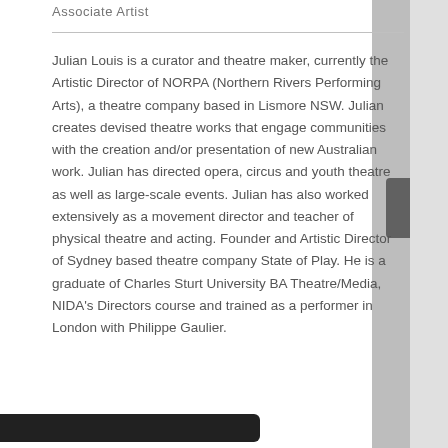Associate Artist
Julian Louis is a curator and theatre maker, currently the Artistic Director of NORPA (Northern Rivers Performing Arts), a theatre company based in Lismore NSW. Julian creates devised theatre works that engage communities with the creation and/or presentation of new Australian work. Julian has directed opera, circus and youth theatre as well as large-scale events. Julian has also worked extensively as a movement director and teacher of physical theatre and acting. Founder and Artistic Director of Sydney based theatre company State of Play. He is a graduate of Charles Sturt University BA Theatre/Media, NIDA's Directors course and trained as a performer in London with Philippe Gaulier.